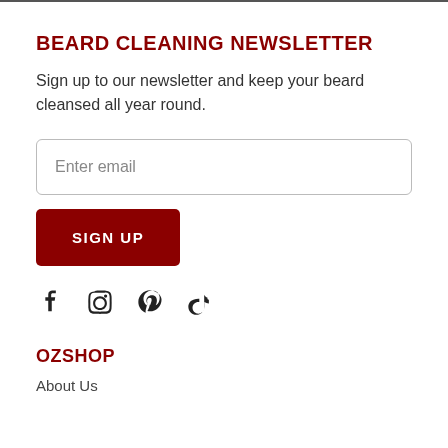BEARD CLEANING NEWSLETTER
Sign up to our newsletter and keep your beard cleansed all year round.
Enter email
SIGN UP
[Figure (infographic): Social media icons: Facebook, Instagram, Pinterest, TikTok]
OZSHOP
About Us